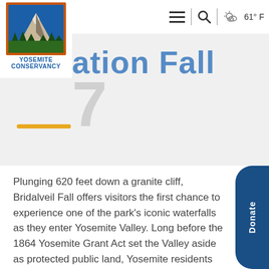[Figure (logo): Yosemite Conservancy logo with mountain and trees, orange border, blue background, with text YOSEMITE CONSERVANCY below]
Navigation bar with hamburger menu, search icon, weather icon, 61° F
ation Fall (partially visible large heading text with number 7)
[Figure (other): Yellow/gold horizontal decorative bar]
Plunging 620 feet down a granite cliff, Bridalveil Fall offers visitors the first chance to experience one of the park's iconic waterfalls as they enter Yosemite Valley. Long before the 1864 Yosemite Grant Act set the Valley aside as protected public land, Yosemite residents and visitors marveled at the beauty and strength of the fall.